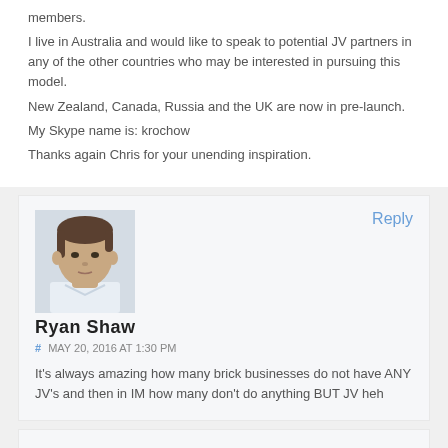members.
I live in Australia and would like to speak to potential JV partners in any of the other countries who may be interested in pursuing this model.
New Zealand, Canada, Russia and the UK are now in pre-launch.
My Skype name is: krochow
Thanks again Chris for your unending inspiration.
[Figure (photo): Headshot photo of Ryan Shaw, a man with short brown hair wearing a light-colored shirt]
Ryan Shaw
# MAY 20, 2016 AT 1:30 PM
It's always amazing how many brick businesses do not have ANY JV's and then in IM how many don't do anything BUT JV heh
[Figure (illustration): Sketch illustration of a cartoon badger or animal character holding something]
Reply